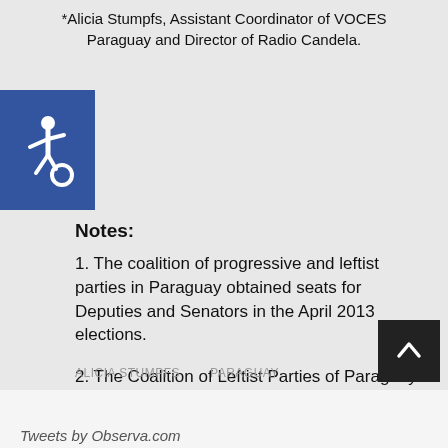*Alicia Stumpfs, Assistant Coordinator of VOCES Paraguay and Director of Radio Candela.
[Figure (other): Wheelchair accessibility icon — white wheelchair symbol on blue square background]
Notes:
1. The coalition of progressive and leftist parties in Paraguay obtained seats for Deputies and Senators in the April 2013 elections.
2. The Coalition of Leftist Parties of Paraguay nominated former President Fernando Lugo to the Senate.
ALICIA STUMPFS   PARAGUAY
Tweets by Observa.com